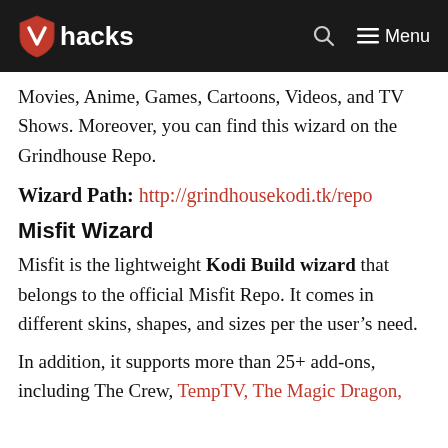VPIhacks — Menu
Movies, Anime, Games, Cartoons, Videos, and TV Shows. Moreover, you can find this wizard on the Grindhouse Repo.
Wizard Path: http://grindhousekodi.tk/repo
Misfit Wizard
Misfit is the lightweight Kodi Build wizard that belongs to the official Misfit Repo. It comes in different skins, shapes, and sizes per the user’s need.
In addition, it supports more than 25+ add-ons, including The Crew, TempTV, The Magic Dragon,